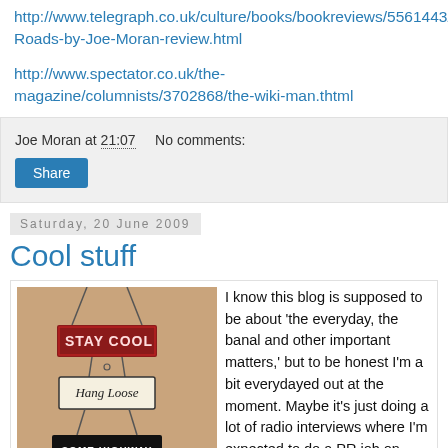http://www.telegraph.co.uk/culture/books/bookreviews/5561443/On-Roads-by-Joe-Moran-review.html
http://www.spectator.co.uk/the-magazine/columnists/3702868/the-wiki-man.thtml
Joe Moran at 21:07    No comments:
Saturday, 20 June 2009
Cool stuff
[Figure (photo): Photo of hanging signs reading STAY COOL, Hang Loose, and partially visible text below, against a beige/tan wall background.]
I know this blog is supposed to be about 'the everyday, the banal and other important matters,' but to be honest I'm a bit everydayed out at the moment. Maybe it's just doing a lot of radio interviews where I'm expected to do a PR job on